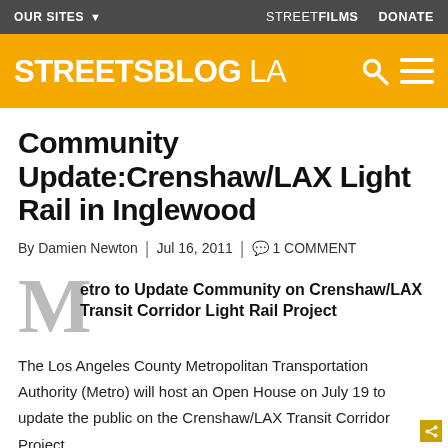OUR SITES ▾ | STREETFILMS | DONATE
STREETSBLOG LA
Community Update:Crenshaw/LAX Light Rail in Inglewood
By Damien Newton | Jul 16, 2011 | 💬 1 COMMENT
Metro to Update Community on Crenshaw/LAX Transit Corridor Light Rail Project
The Los Angeles County Metropolitan Transportation Authority (Metro) will host an Open House on July 19 to update the public on the Crenshaw/LAX Transit Corridor Project.